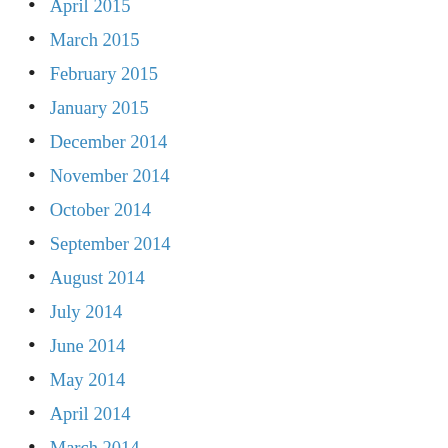April 2015
March 2015
February 2015
January 2015
December 2014
November 2014
October 2014
September 2014
August 2014
July 2014
June 2014
May 2014
April 2014
March 2014
February 2014
January 2014